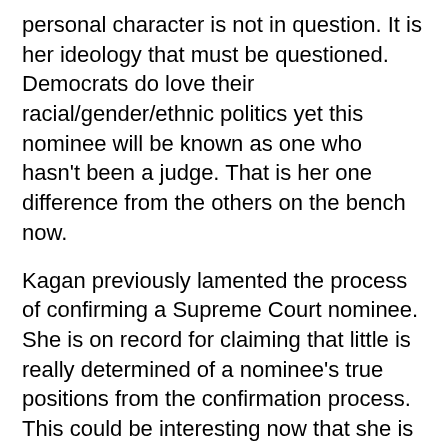personal character is not in question. It is her ideology that must be questioned. Democrats do love their racial/gender/ethnic politics yet this nominee will be known as one who hasn't been a judge. That is her one difference from the others on the bench now.
Kagan previously lamented the process of confirming a Supreme Court nominee. She is on record for claiming that little is really determined of a nominee's true positions from the confirmation process. This could be interesting now that she is the nominee. She has very little paper trail and no experience on the bench of which to determine how she may rule on the court. She received a bi-partisan nod when going through the confirmation process for her current position as Solicitor General. At the time, she was said to be Obama's future Supreme Court choice. This nomination does not come out of the blue.
From the reports out there now, it would appear that Kagan is the best that Republicans can hope for from this president. Obama was no more likely to nominate anyone with conservative cred any more than George W. Bush was likely